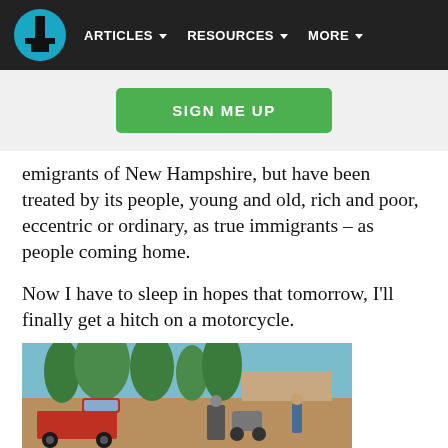ARTICLES | RESOURCES | MORE
[Figure (other): Green SIGN ME UP button]
emigrants of New Hampshire, but have been treated by its people, young and old, rich and poor, eccentric or ordinary, as true immigrants – as people coming home.
Now I have to sleep in hopes that tomorrow, I'll finally get a hitch on a motorcycle.
[Figure (photo): Outdoor scene with trees, a red pickup truck, motorcycles, and people in a parking or open area]